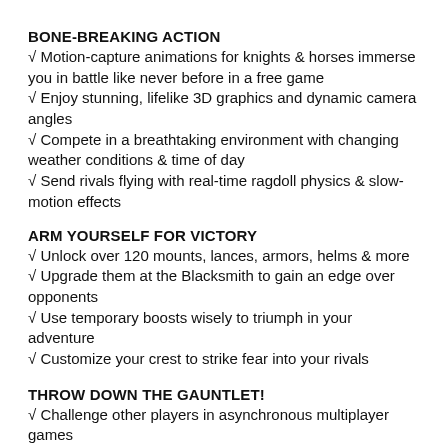BONE-BREAKING ACTION
√ Motion-capture animations for knights & horses immerse you in battle like never before in a free game
√ Enjoy stunning, lifelike 3D graphics and dynamic camera angles
√ Compete in a breathtaking environment with changing weather conditions & time of day
√ Send rivals flying with real-time ragdoll physics & slow-motion effects
ARM YOURSELF FOR VICTORY
√ Unlock over 120 mounts, lances, armors, helms & more
√ Upgrade them at the Blacksmith to gain an edge over opponents
√ Use temporary boosts wisely to triumph in your adventure
√ Customize your crest to strike fear into your rivals
THROW DOWN THE GAUNTLET!
√ Challenge other players in asynchronous multiplayer games